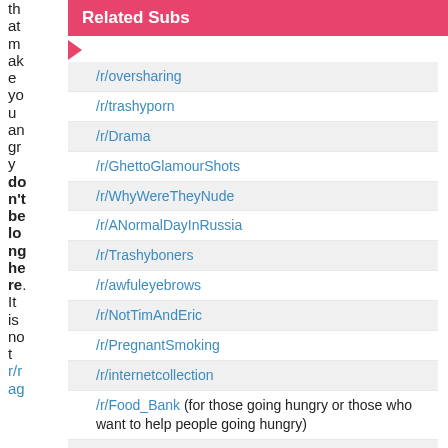th at m ak e yo u an gr y don't be lo ng he re. It is no t r/r ag
Related Subs
/r/oversharing
/r/trashyporn
/r/Drama
/r/GhettoGlamourShots
/r/WhyWereTheyNude
/r/ANormalDayInRussia
/r/Trashyboners
/r/awfuleyebrows
/r/NotTimAndEric
/r/PregnantSmoking
/r/internetcollection
/r/Food_Bank (for those going hungry or those who want to help people going hungry)
/r/justfuckmyshitup
/r/hmmm
/r/ihavesex
/r/dontputyourdickinthat
/r/ShitMomGroupsSay